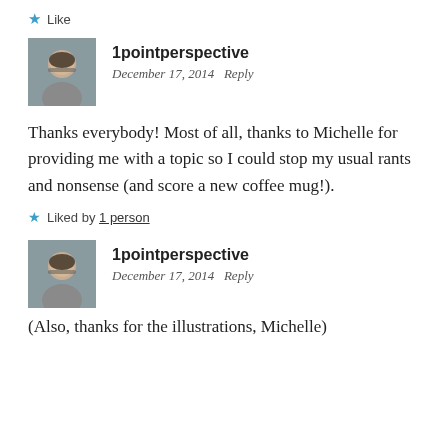★ Like
[Figure (photo): Avatar photo of a bald man with glasses]
1pointperspective
December 17, 2014   Reply
Thanks everybody! Most of all, thanks to Michelle for providing me with a topic so I could stop my usual rants and nonsense (and score a new coffee mug!).
★ Liked by 1 person
[Figure (photo): Avatar photo of a bald man with glasses]
1pointperspective
December 17, 2014   Reply
(Also, thanks for the illustrations, Michelle)